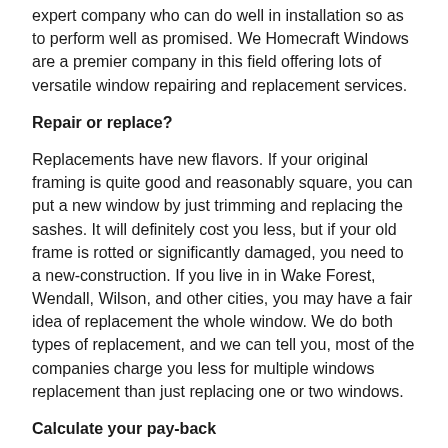expert company who can do well in installation so as to perform well as promised. We Homecraft Windows are a premier company in this field offering lots of versatile window repairing and replacement services.
Repair or replace?
Replacements have new flavors. If your original framing is quite good and reasonably square, you can put a new window by just trimming and replacing the sashes. It will definitely cost you less, but if your old frame is rotted or significantly damaged, you need to a new-construction. If you live in in Wake Forest, Wendall, Wilson, and other cities, you may have a fair idea of replacement the whole window. We do both types of replacement, and we can tell you, most of the companies charge you less for multiple windows replacement than just replacing one or two windows.
Calculate your pay-back
According to many professional home advisory companies in Garner, Goldsboro, Hillsborough, whether it is a high-end luxury home or a mid-range average home, the value of replaced